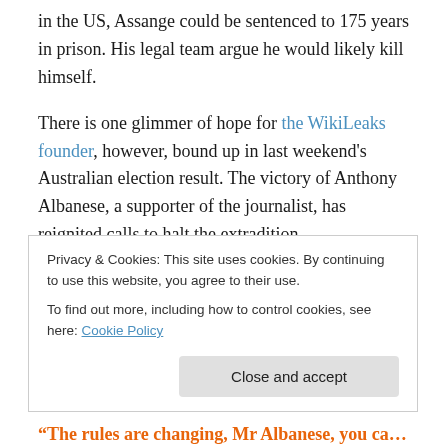in the US, Assange could be sentenced to 175 years in prison. His legal team argue he would likely kill himself.
There is one glimmer of hope for the WikiLeaks founder, however, bound up in last weekend's Australian election result. The victory of Anthony Albanese, a supporter of the journalist, has reignited calls to halt the extradition.
Albanese has said that while he didn't sympathise with Assange for some of his actions, he could not see any purpose to keeping him in jail.“Assange’s appeal is like a game of extradition snakes and
Privacy & Cookies: This site uses cookies. By continuing to use this website, you agree to their use.
To find out more, including how to control cookies, see here: Cookie Policy
“The rules are changing, Mr Albanese, you can demand of and